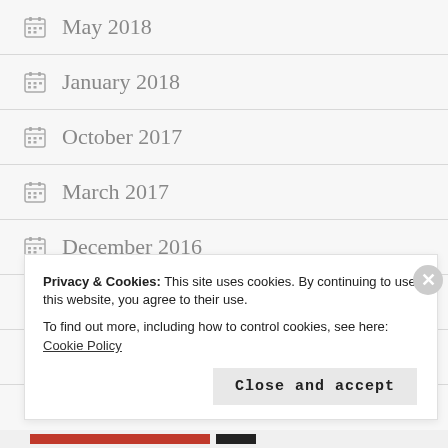May 2018
January 2018
October 2017
March 2017
December 2016
November 2016
October 2016
Privacy & Cookies: This site uses cookies. By continuing to use this website, you agree to their use.
To find out more, including how to control cookies, see here: Cookie Policy
Close and accept